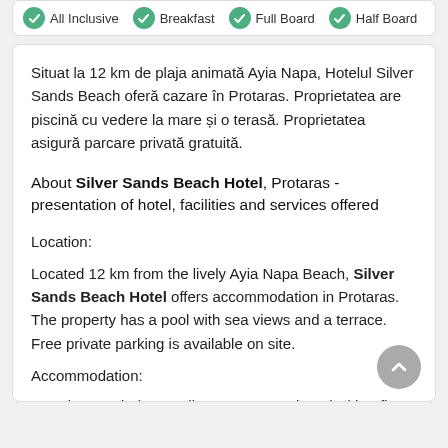All Inclusive  Breakfast  Full Board  Half Board
Situat la 12 km de plaja animată Ayia Napa, Hotelul Silver Sands Beach oferă cazare în Protaras. Proprietatea are piscină cu vedere la mare și o terasă. Proprietatea asigură parcare privată gratuită.
About Silver Sands Beach Hotel, Protaras - presentation of hotel, facilities and services offered
Location:
Located 12 km from the lively Ayia Napa Beach, Silver Sands Beach Hotel offers accommodation in Protaras. The property has a pool with sea views and a terrace. Free private parking is available on site.
Accommodation:
Opening to a balcony, all rooms are equipped with a flat-screen TV and air conditioning. They also include a seating area and a